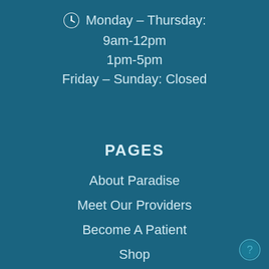Monday – Thursday: 9am-12pm 1pm-5pm Friday – Sunday: Closed
PAGES
About Paradise
Meet Our Providers
Become A Patient
Shop
Telemedicine
Depression Treatment Center